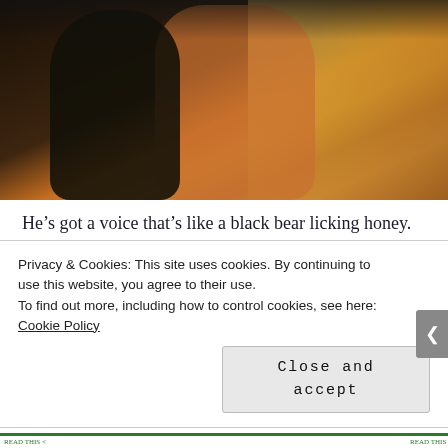[Figure (photo): A man and woman in an intimate pose in a dimly lit room. The woman is wearing a dark dress, the man is shirtless. Warm amber-toned background with a window visible.]
He’s got a voice that’s like a black bear licking honey.  He’s got a body that does not stop, despite being forced to wear dorky fae vests.  He’s a long cool glass of water, and he makes me thirsty.  His character and how the actor embodies the character is like the
Privacy & Cookies: This site uses cookies. By continuing to use this website, you agree to their use.
To find out more, including how to control cookies, see here: Cookie Policy
Close and accept